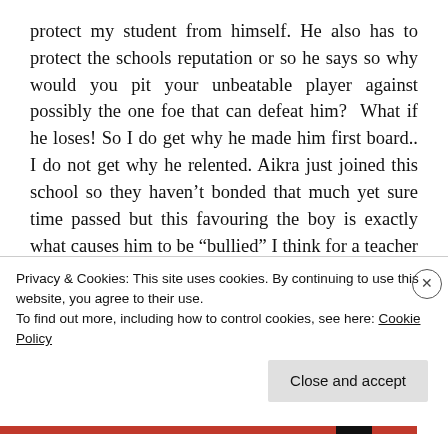protect my student from himself. He also has to protect the schools reputation or so he says so why would you pit your unbeatable player against possibly the one foe that can defeat him?  What if he loses! So I do get why he made him first board.. I do not get why he relented. Aikra just joined this school so they haven't bonded that much yet sure time passed but this favouring the boy is exactly what causes him to be “bullied” I think for a teacher that should weigh heavier than an obsession.. So again this show makes me question the gravity that is given to Go and honour. In a way I sometimes feel thi...
Privacy & Cookies: This site uses cookies. By continuing to use this website, you agree to their use.
To find out more, including how to control cookies, see here: Cookie Policy